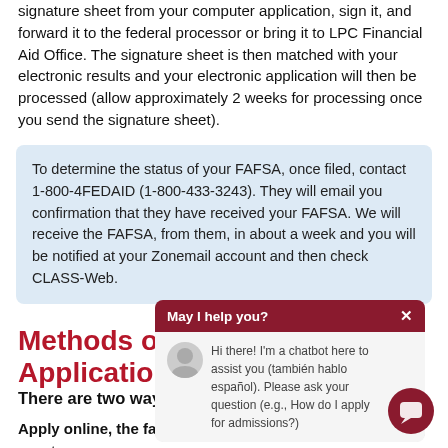signature sheet from your computer application, sign it, and forward it to the federal processor or bring it to LPC Financial Aid Office. The signature sheet is then matched with your electronic results and your electronic application will then be processed (allow approximately 2 weeks for processing once you send the signature sheet).
To determine the status of your FAFSA, once filed, contact 1-800-4FEDAID (1-800-433-3243). They will email you confirmation that they have received your FAFSA. We will receive the FAFSA, from them, in about a week and you will be notified at your Zonemail account and then check CLASS-Web.
Methods of Filing a FAFSA Application
There are two ways to apply for aid:
Apply online, the fastest method. From any computer or smart